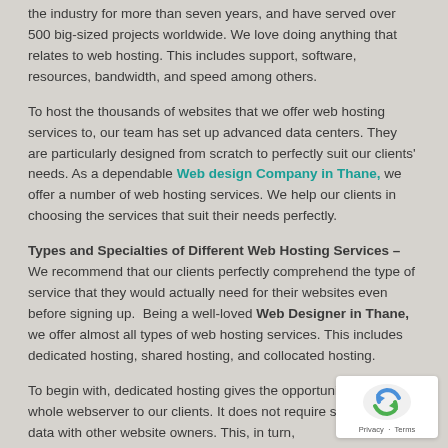the industry for more than seven years, and have served over 500 big-sized projects worldwide. We love doing anything that relates to web hosting. This includes support, software, resources, bandwidth, and speed among others.
To host the thousands of websites that we offer web hosting services to, our team has set up advanced data centers. They are particularly designed from scratch to perfectly suit our clients' needs. As a dependable Web design Company in Thane, we offer a number of web hosting services. We help our clients in choosing the services that suit their needs perfectly.
Types and Specialties of Different Web Hosting Services – We recommend that our clients perfectly comprehend the type of service that they would actually need for their websites even before signing up. Being a well-loved Web Designer in Thane, we offer almost all types of web hosting services. This includes dedicated hosting, shared hosting, and collocated hosting.
To begin with, dedicated hosting gives the opportunity to have the whole webserver to our clients. It does not require sharing the data with other website owners. This, in turn,